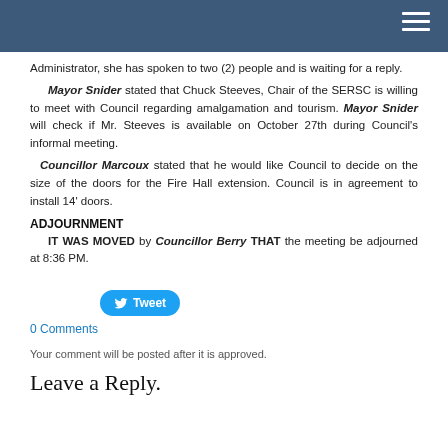Administrator, she has spoken to two (2) people and is waiting for a reply.
    Mayor Snider stated that Chuck Steeves, Chair of the SERSC is willing to meet with Council regarding amalgamation and tourism. Mayor Snider will check if Mr. Steeves is available on October 27th during Council's informal meeting.
    Councillor Marcoux stated that he would like Council to decide on the size of the doors for the Fire Hall extension. Council is in agreement to install 14' doors.
ADJOURNMENT
IT WAS MOVED by Councillor Berry THAT the meeting be adjourned at 8:36 PM.
[Figure (other): Tweet button with Twitter bird icon]
0 Comments
Your comment will be posted after it is approved.
Leave a Reply.